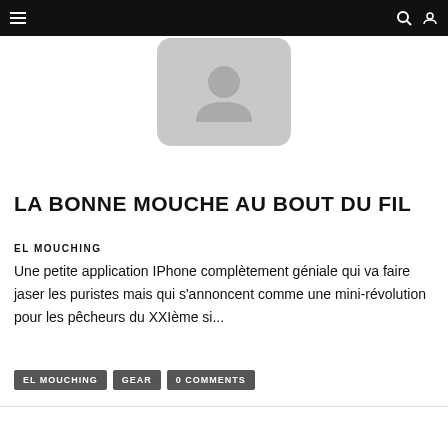Navigation bar with menu, search, and user icons
[Figure (illustration): Gray placeholder image with a person/portrait icon silhouette, rounded rectangle shape]
LA BONNE MOUCHE AU BOUT DU FIL
EL MOUCHING
Une petite application IPhone complètement géniale qui va faire jaser les puristes mais qui s'annoncent comme une mini-révolution pour les pêcheurs du XXIème si...
EL MOUCHING
GEAR
0 COMMENTS